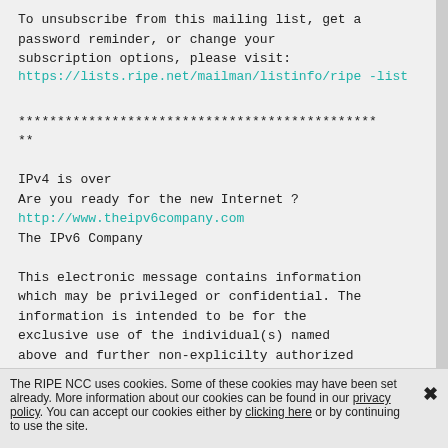To unsubscribe from this mailing list, get a
password reminder, or change your
subscription options, please visit:
https://lists.ripe.net/mailman/listinfo/ripe-list
**********************************************
**

IPv4 is over
Are you ready for the new Internet ?
http://www.theipv6company.com
The IPv6 Company

This electronic message contains information
which may be privileged or confidential. The
information is intended to be for the
exclusive use of the individual(s) named
above and further non-explicilty authorized
disclosure, serving, distribution or use of
The RIPE NCC uses cookies. Some of these cookies may have been set already. More information about our cookies can be found in our privacy policy. You can accept our cookies either by clicking here or by continuing to use the site.